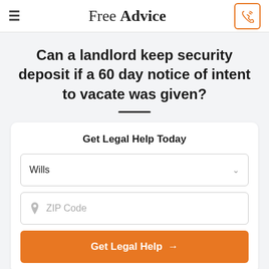Free Advice
Can a landlord keep security deposit if a 60 day notice of intent to vacate was given?
Get Legal Help Today
Wills
ZIP Code
Get Legal Help →